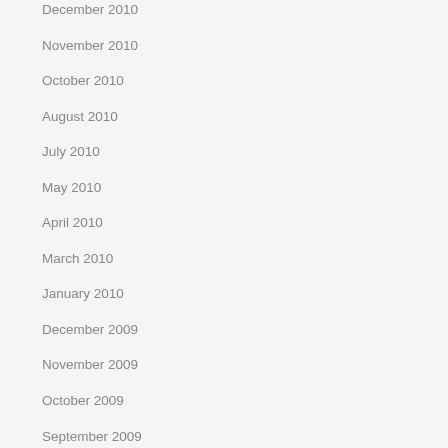December 2010
November 2010
October 2010
August 2010
July 2010
May 2010
April 2010
March 2010
January 2010
December 2009
November 2009
October 2009
September 2009